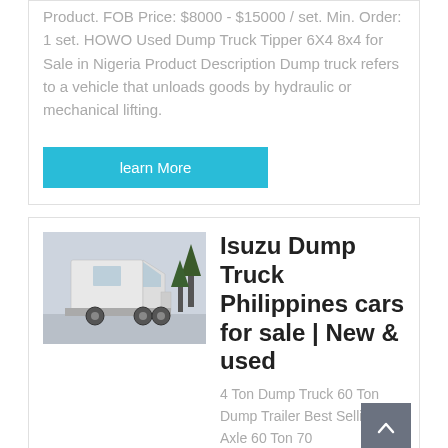Product. FOB Price: $8000 - $15000 / set. Min. Order: 1 set. HOWO Used Dump Truck Tipper 6X4 8x4 for Sale in Nigeria Product Description Dump truck refers to a vehicle that unloads goods by hydraulic or mechanical lifting.
learn More
[Figure (photo): White HOWO truck tractor unit parked outdoors with trees in background]
Isuzu Dump Truck Philippines cars for sale | New & used
4 Ton Dump Truck 60 Ton Dump Trailer Best Selling 4 Axle 60 Ton 70